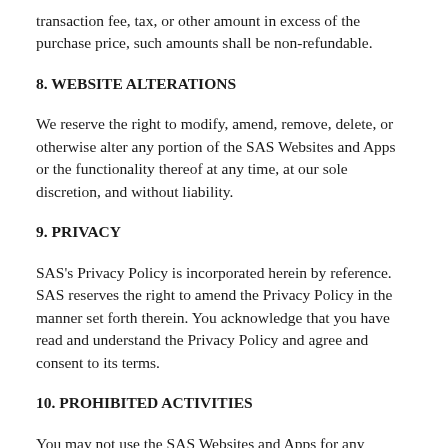transaction fee, tax, or other amount in excess of the purchase price, such amounts shall be non-refundable.
8. WEBSITE ALTERATIONS
We reserve the right to modify, amend, remove, delete, or otherwise alter any portion of the SAS Websites and Apps or the functionality thereof at any time, at our sole discretion, and without liability.
9. PRIVACY
SAS's Privacy Policy is incorporated herein by reference. SAS reserves the right to amend the Privacy Policy in the manner set forth therein. You acknowledge that you have read and understand the Privacy Policy and agree and consent to its terms.
10. PROHIBITED ACTIVITIES
You may not use the SAS Websites and Apps for any